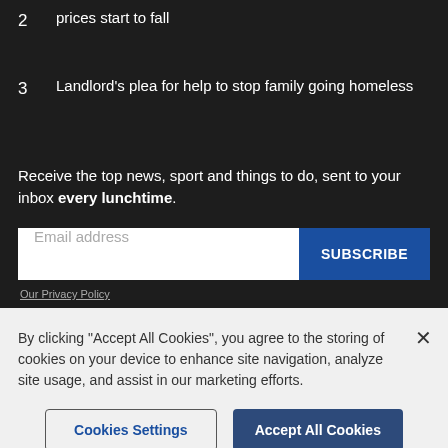2  prices start to fall
3  Landlord's plea for help to stop family going homeless
Receive the top news, sport and things to do, sent to your inbox every lunchtime.
Email address [input] SUBSCRIBE
Our Privacy Policy
By clicking "Accept All Cookies", you agree to the storing of cookies on your device to enhance site navigation, analyze site usage, and assist in our marketing efforts.
Cookies Settings  Accept All Cookies